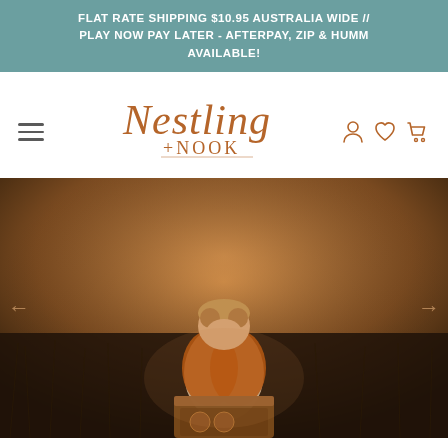FLAT RATE SHIPPING $10.95 AUSTRALIA WIDE // PLAY NOW PAY LATER - AFTERPAY, ZIP & HUMM AVAILABLE!
[Figure (logo): Nestling + Nook brand logo in copper/rust cursive script with navigation icons (hamburger menu, person, heart, cart)]
[Figure (photo): Child wearing an orange knitted cardigan and cream pinafore, sitting in a field of grass at golden hour, playing with a wooden activity toy box]